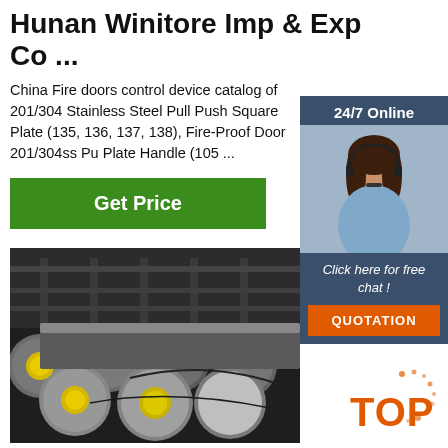Hunan Winitore Imp & Exp Co ...
China Fire doors control device catalog of 201/304 Stainless Steel Pull Push Square Plate (135, 136, 137, 138), Fire-Proof Door 201/304ss Pull Plate Handle (105 ...
[Figure (other): Green 'Get Price' button]
[Figure (other): 24/7 Online sidebar with customer service agent photo, 'Click here for free chat!' text, and orange QUOTATION button]
[Figure (photo): Industrial steel round bars/rods stacked horizontally in a warehouse, with yellow end-cap labels]
[Figure (logo): Orange TOP badge/logo with dot pattern in bottom right]